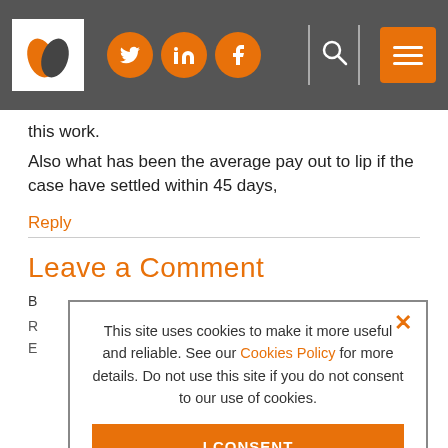[Figure (screenshot): Website navigation bar with logo, social media icons (Twitter, LinkedIn, Facebook), search icon, and hamburger menu button on dark gray background]
this work.
Also what has been the average pay out to lip if the case have settled within 45 days,
Reply
Leave a Comment
This site uses cookies to make it more useful and reliable. See our Cookies Policy for more details. Do not use this site if you do not consent to our use of cookies.
I CONSENT
SEE COOKIE POLICY